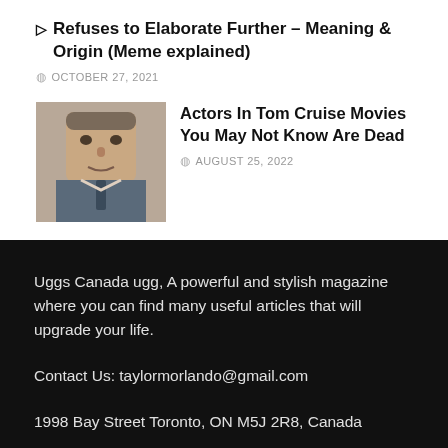▷ Refuses to Elaborate Further – Meaning & Origin (Meme explained)
OCTOBER 27, 2021
[Figure (photo): Portrait photo of an older man in a suit and tie]
Actors In Tom Cruise Movies You May Not Know Are Dead
AUGUST 25, 2022
Uggs Canada ugg, A powerful and stylish magazine where you can find many useful articles that will upgrade your life.
Contact Us: taylormorlando@gmail.com
1998 Bay Street Toronto, ON M5J 2R8, Canada